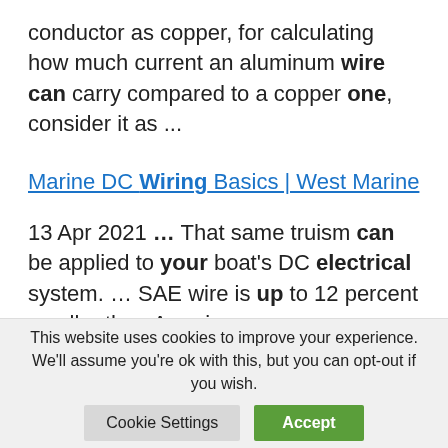conductor as copper, for calculating how much current an aluminum wire can carry compared to a copper one, consider it as ...
Marine DC Wiring Basics | West Marine
13 Apr 2021 ... That same truism can be applied to your boat's DC electrical system. ... SAE wire is up to 12 percent smaller than American
This website uses cookies to improve your experience. We'll assume you're ok with this, but you can opt-out if you wish.